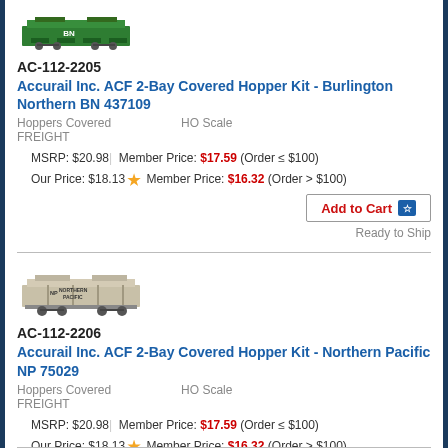[Figure (illustration): Small illustration of a Burlington Northern green covered hopper train car]
AC-112-2205
Accurail Inc. ACF 2-Bay Covered Hopper Kit - Burlington Northern BN 437109
Hoppers Covered FREIGHT    HO Scale
MSRP: $20.98 | Member Price: $17.59 (Order ≤ $100)
Our Price: $18.13 ★ Member Price: $16.32 (Order > $100)
Add to Cart
Ready to Ship
[Figure (illustration): Small illustration of a Northern Pacific gray covered hopper train car]
AC-112-2206
Accurail Inc. ACF 2-Bay Covered Hopper Kit - Northern Pacific NP 75029
Hoppers Covered FREIGHT    HO Scale
MSRP: $20.98 | Member Price: $17.59 (Order ≤ $100)
Our Price: $18.13 ★ Member Price: $16.32 (Order > $100)
Add to Cart
Ready to Ship